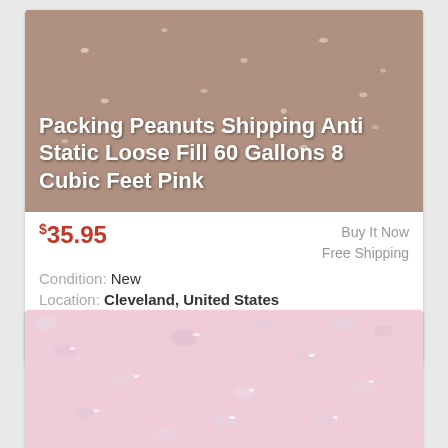[Figure (photo): Close-up photo of pinkish-beige packing peanuts filling the frame, with overlaid white text showing product title]
Packing Peanuts Shipping Anti Static Loose Fill 60 Gallons 8 Cubic Feet Pink
$35.95  Buy It Now  Free Shipping
Condition: New
Location: Cleveland, United States
Quantity is 8 cubic feet (60 Gallons). -S-Shaped peanuts. FREE Trial !
[Figure (photo): Close-up macro photo of pink S-shaped packing peanuts with white shiny highlights, showing texture detail]